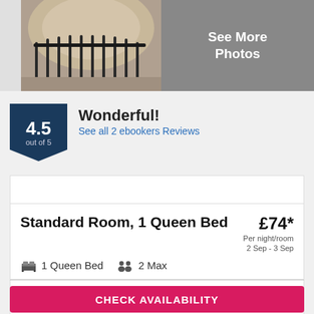[Figure (photo): Hotel interior photo showing a grand rotunda with ornate iron railings and arched ceiling]
[Figure (other): Gray button area with text 'See More Photos']
4.5 out of 5
Wonderful!
See all 2 ebookers Reviews
Standard Room, 1 Queen Bed
£74*
Per night/room
2 Sep - 3 Sep
1 Queen Bed   2 Max
CHECK AVAILABILITY